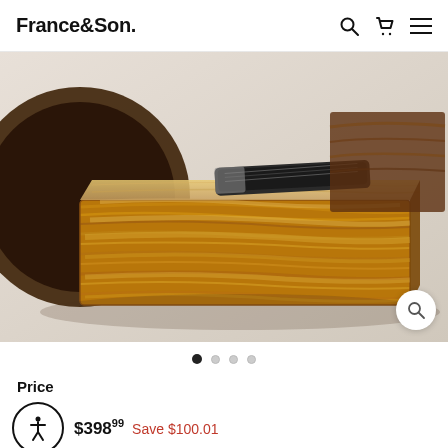France&Son.
[Figure (photo): A wooden decorative box/block made of olive or spalted wood with beautiful grain patterns, sitting on a surface. A dark/metallic object rests on top of it. Another dark wood piece is partially visible in the background.]
Price
$39899  $39899  Save $100.01